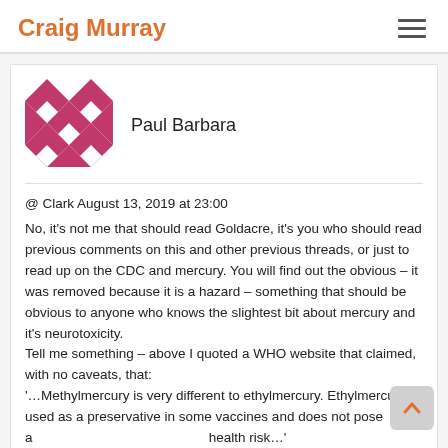Craig Murray
Paul Barbara
@ Clark August 13, 2019 at 23:00
No, it's not me that should read Goldacre, it's you who should read previous comments on this and other previous threads, or just to read up on the CDC and mercury. You will find out the obvious – it was removed because it is a hazard – something that should be obvious to anyone who knows the slightest bit about mercury and it's neurotoxicity.
Tell me something – above I quoted a WHO website that claimed, with no caveats, that:
'…Methylmercury is very different to ethylmercury. Ethylmercury is used as a preservative in some vaccines and does not pose a health risk…' https://www.who.int/news-room/fact-sheets/detail/mercury-and-health